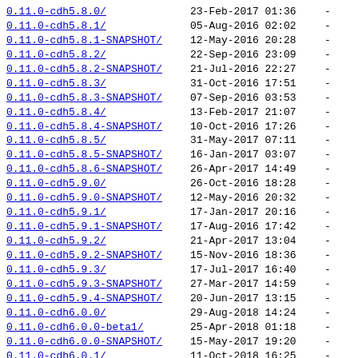0.11.0-cdh5.8.0/   23-Feb-2017 01:36   -
0.11.0-cdh5.8.1/   05-Aug-2016 02:02   -
0.11.0-cdh5.8.1-SNAPSHOT/   12-May-2016 20:28   -
0.11.0-cdh5.8.2/   22-Sep-2016 23:09   -
0.11.0-cdh5.8.2-SNAPSHOT/   21-Jul-2016 22:27   -
0.11.0-cdh5.8.3/   31-Oct-2016 17:51   -
0.11.0-cdh5.8.3-SNAPSHOT/   07-Sep-2016 03:53   -
0.11.0-cdh5.8.4/   13-Feb-2017 21:07   -
0.11.0-cdh5.8.4-SNAPSHOT/   10-Oct-2016 17:26   -
0.11.0-cdh5.8.5/   31-May-2017 07:11   -
0.11.0-cdh5.8.5-SNAPSHOT/   16-Jan-2017 03:07   -
0.11.0-cdh5.8.6-SNAPSHOT/   26-Apr-2017 14:49   -
0.11.0-cdh5.9.0/   26-Oct-2016 18:28   -
0.11.0-cdh5.9.0-SNAPSHOT/   12-May-2016 20:32   -
0.11.0-cdh5.9.1/   17-Jan-2017 20:16   -
0.11.0-cdh5.9.1-SNAPSHOT/   17-Aug-2016 17:42   -
0.11.0-cdh5.9.2/   21-Apr-2017 13:04   -
0.11.0-cdh5.9.2-SNAPSHOT/   15-Nov-2016 18:36   -
0.11.0-cdh5.9.3/   17-Jul-2017 16:40   -
0.11.0-cdh5.9.3-SNAPSHOT/   27-Mar-2017 14:59   -
0.11.0-cdh5.9.4-SNAPSHOT/   20-Jun-2017 13:15   -
0.11.0-cdh6.0.0/   29-Aug-2018 14:24   -
0.11.0-cdh6.0.0-beta1/   25-Apr-2018 01:18   -
0.11.0-cdh6.0.0-SNAPSHOT/   15-May-2017 19:20   -
0.11.0-cdh6.0.1/   11-Oct-2018 16:25   -
0.11.0-cdh6.0.x-SNAPSHOT/   05-Mar-2018 21:14   -
0.11.0-cdh6.1.0/   17-Dec-2018 18:24   -
0.11.0-cdh6.1.1/   19-Feb-2019 13:24   -
0.11.0-cdh6.1.x-SNAPSHOT/   25-Oct-2018 21:20   -
0.11.0-cdh6.2.0/   28-Mar-2019 13:25   -